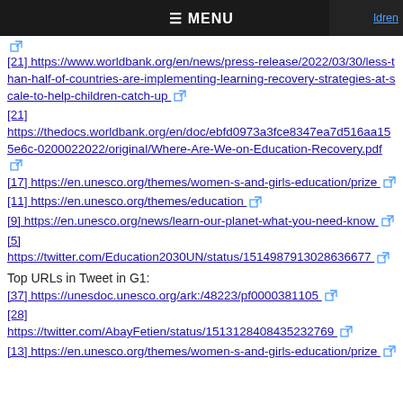≡ MENU
[21] https://www.worldbank.org/en/news/press-release/2022/03/30/less-than-half-of-countries-are-implementing-learning-recovery-strategies-at-scale-to-help-children-catch-up
[21] https://thedocs.worldbank.org/en/doc/ebfd0973a3fce8347ea7d516aa155e6c-0200022022/original/Where-Are-We-on-Education-Recovery.pdf
[17] https://en.unesco.org/themes/women-s-and-girls-education/prize
[11] https://en.unesco.org/themes/education
[9] https://en.unesco.org/news/learn-our-planet-what-you-need-know
[5] https://twitter.com/Education2030UN/status/1514987913028636677
Top URLs in Tweet in G1:
[37] https://unesdoc.unesco.org/ark:/48223/pf0000381105
[28] https://twitter.com/AbayFetien/status/1513128408435232769
[13] https://en.unesco.org/themes/women-s-and-girls-education/prize